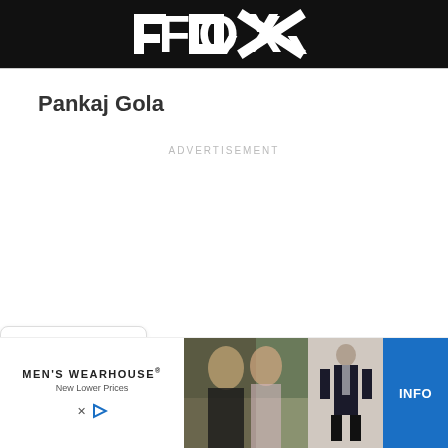[Figure (logo): FOX logo in white large bold letters on black background header bar]
Pankaj Gola
ADVERTISEMENT
[Figure (infographic): Dropdown chevron pill button at bottom of content area]
[Figure (infographic): Men's Wearhouse advertisement banner at bottom: logo text, couple photo in formalwear, man in suit figure, blue INFO button]